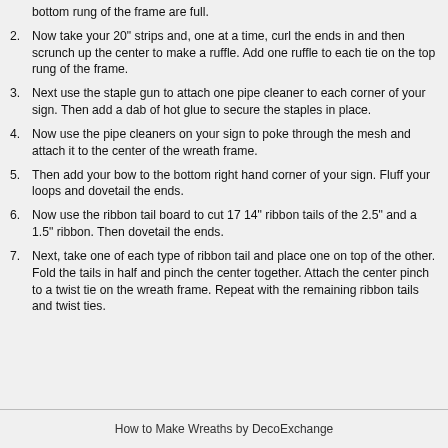bottom rung of the frame are full.
2. Now take your 20" strips and, one at a time, curl the ends in and then scrunch up the center to make a ruffle. Add one ruffle to each tie on the top rung of the frame.
3. Next use the staple gun to attach one pipe cleaner to each corner of your sign. Then add a dab of hot glue to secure the staples in place.
4. Now use the pipe cleaners on your sign to poke through the mesh and attach it to the center of the wreath frame.
5. Then add your bow to the bottom right hand corner of your sign. Fluff your loops and dovetail the ends.
6. Now use the ribbon tail board to cut 17 14" ribbon tails of the 2.5" and a 1.5" ribbon. Then dovetail the ends.
7. Next, take one of each type of ribbon tail and place one on top of the other. Fold the tails in half and pinch the center together. Attach the center pinch to a twist tie on the wreath frame. Repeat with the remaining ribbon tails and twist ties.
How to Make Wreaths by DecoExchange